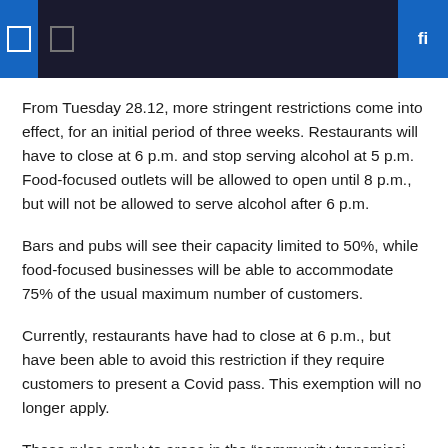From Tuesday 28.12, more stringent restrictions come into effect, for an initial period of three weeks. Restaurants will have to close at 6 p.m. and stop serving alcohol at 5 p.m. Food-focused outlets will be allowed to open until 8 p.m., but will not be allowed to serve alcohol after 6 p.m.
Bars and pubs will see their capacity limited to 50%, while food-focused businesses will be able to accommodate 75% of the usual maximum number of customers.
Currently, restaurants have had to close at 6 p.m., but have been able to avoid this restriction if they require customers to present a Covid pass. This exemption will no longer apply.
These rules apply to areas in the “community transmission” phase. These are all hospital districts in the country, except